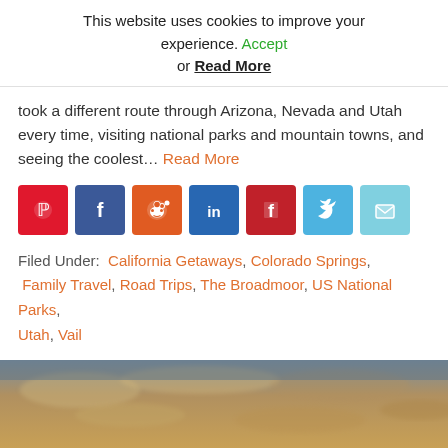This website uses cookies to improve your experience. Accept or Read More
took a different route through Arizona, Nevada and Utah every time, visiting national parks and mountain towns, and seeing the coolest... Read More
[Figure (other): Row of social share buttons: Pinterest (red), Facebook (blue), Reddit (orange), LinkedIn (dark blue), Flipboard (dark red), Twitter (light blue), Email (light cyan)]
Filed Under: California Getaways, Colorado Springs, Family Travel, Road Trips, The Broadmoor, US National Parks, Utah, Vail
[Figure (photo): Partial bottom image showing a warm amber/golden sky with some cloud texture, appearing to be a landscape or sky photo cropped at top of frame]